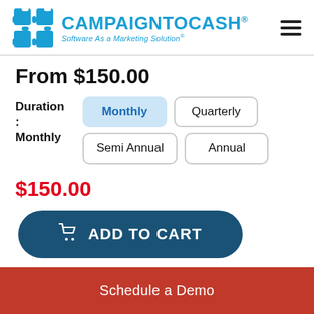[Figure (logo): CampaignToCash logo with puzzle piece icon and tagline 'Software As a Marketing Solution']
From $150.00
Duration: Monthly
Monthly | Quarterly | Semi Annual | Annual (duration options, Monthly selected)
$150.00
ADD TO CART
Schedule a Demo